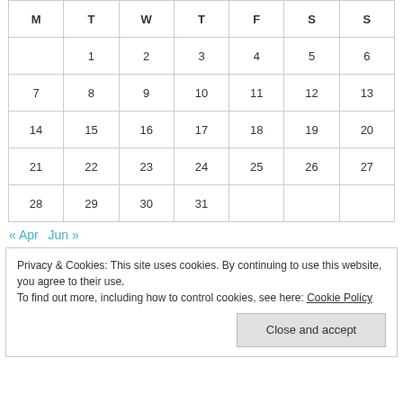| M | T | W | T | F | S | S |
| --- | --- | --- | --- | --- | --- | --- |
|  | 1 | 2 | 3 | 4 | 5 | 6 |
| 7 | 8 | 9 | 10 | 11 | 12 | 13 |
| 14 | 15 | 16 | 17 | 18 | 19 | 20 |
| 21 | 22 | 23 | 24 | 25 | 26 | 27 |
| 28 | 29 | 30 | 31 |  |  |  |
« Apr   Jun »
Privacy & Cookies: This site uses cookies. By continuing to use this website, you agree to their use.
To find out more, including how to control cookies, see here: Cookie Policy
Close and accept